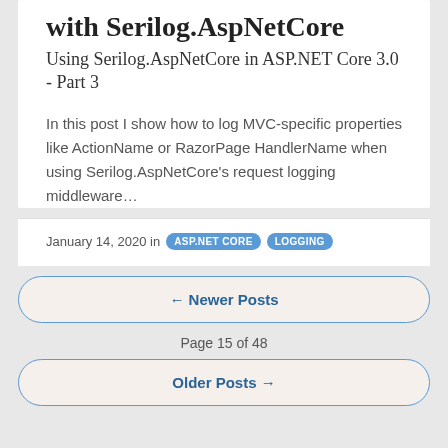with Serilog.AspNetCore Using Serilog.AspNetCore in ASP.NET Core 3.0 - Part 3
In this post I show how to log MVC-specific properties like ActionName or RazorPage HandlerName when using Serilog.AspNetCore's request logging middleware…
January 14, 2020 in ASP.NET CORE LOGGING
← Newer Posts
Page 15 of 48
Older Posts →